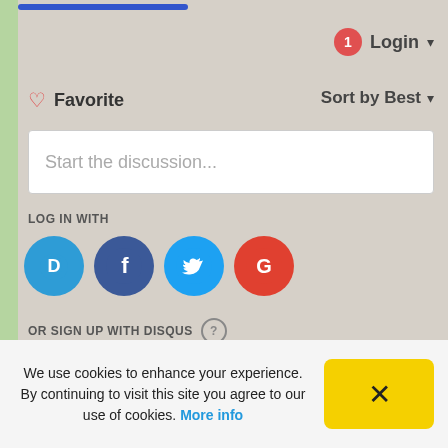[Figure (screenshot): Blue progress bar at top]
1 Login ▾
♡ Favorite
Sort by Best ▾
Start the discussion...
LOG IN WITH
[Figure (logo): Disqus, Facebook, Twitter, Google social login icons]
OR SIGN UP WITH DISQUS ?
Name
We use cookies to enhance your experience. By continuing to visit this site you agree to our use of cookies. More info